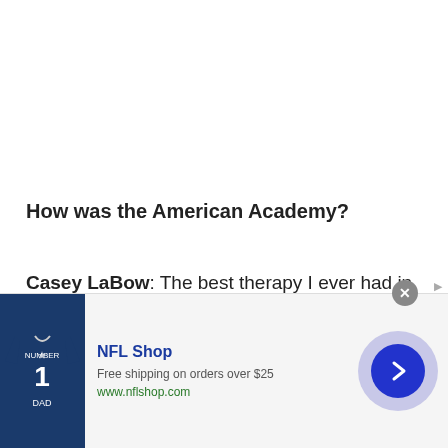How was the American Academy?
Casey LaBow: The best therapy I ever had in my life. I went home crying every day for the first 3 months. It was brutal. But I think I had gotten so in my shell at that point from being told ‘no’ for so long but it was great. I
[Figure (other): NFL Shop advertisement banner with Dallas Cowboys jersey image, NFL Shop logo, text 'Free shipping on orders over $25', 'www.nflshop.com', a forward arrow button, close button, and ad indicator.]